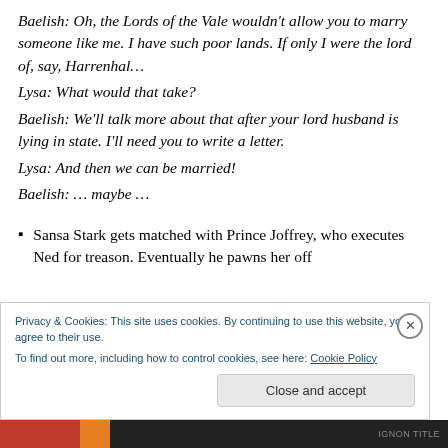Baelish: Oh, the Lords of the Vale wouldn't allow you to marry someone like me. I have such poor lands. If only I were the lord of, say, Harrenhal…
Lysa: What would that take?
Baelish: We'll talk more about that after your lord husband is lying in state. I'll need you to write a letter.
Lysa: And then we can be married!
Baelish: … maybe …
Sansa Stark gets matched with Prince Joffrey, who executes Ned for treason. Eventually he pawns her off
Privacy & Cookies: This site uses cookies. By continuing to use this website, you agree to their use. To find out more, including how to control cookies, see here: Cookie Policy
Close and accept